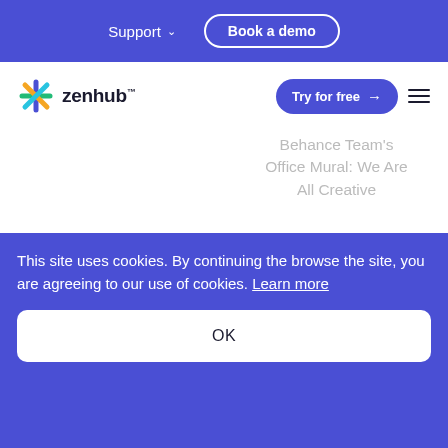Support  Book a demo
[Figure (logo): Zenhub logo with colorful asterisk star icon and wordmark 'zenhub']
Behance Team's Office Mural: We Are All Creative
Team accountability
This site uses cookies. By continuing the browse the site, you are agreeing to our use of cookies. Learn more
OK